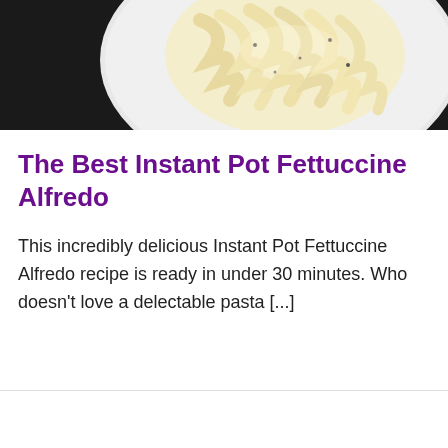[Figure (photo): A close-up photo of fettuccine alfredo pasta on a white plate, with creamy sauce and black pepper visible. Upper left corner is black.]
The Best Instant Pot Fettuccine Alfredo
This incredibly delicious Instant Pot Fettuccine Alfredo recipe is ready in under 30 minutes. Who doesn't love a delectable pasta [...]